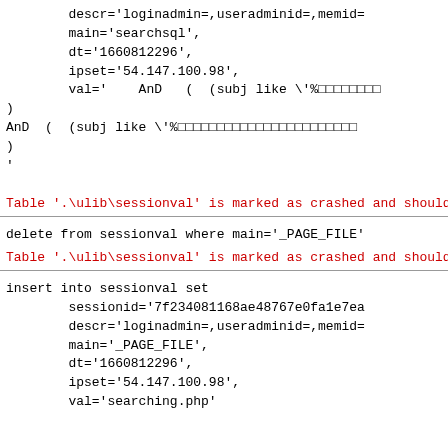descr='loginadmin=,useradminid=,memid=
        main='searchsql',
        dt='1660812296',
        ipset='54.147.100.98',
        val='    AnD   (  (subj like \'%□□□□□□□□
)
AnD  (  (subj like \'%□□□□□□□□□□□□□□□□□□□□□□□
)
'
Table '.\ulib\sessionval' is marked as crashed and should be repaired
delete from sessionval where main='_PAGE_FILE'
Table '.\ulib\sessionval' is marked as crashed and should be repaired
insert into sessionval set
        sessionid='7f234081168ae48767e0fa1e7ea
        descr='loginadmin=,useradminid=,memid=
        main='_PAGE_FILE',
        dt='1660812296',
        ipset='54.147.100.98',
        val='searching.php'